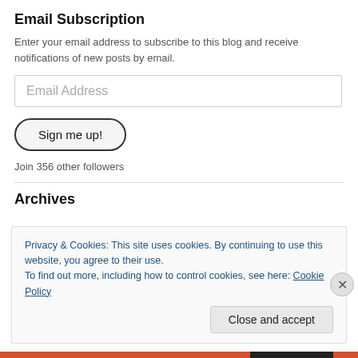Email Subscription
Enter your email address to subscribe to this blog and receive notifications of new posts by email.
Email Address
Sign me up!
Join 356 other followers
Archives
Privacy & Cookies: This site uses cookies. By continuing to use this website, you agree to their use.
To find out more, including how to control cookies, see here: Cookie Policy
Close and accept